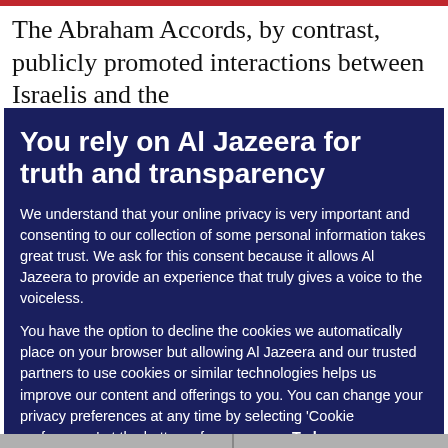The Abraham Accords, by contrast, publicly promoted interactions between Israelis and the
You rely on Al Jazeera for truth and transparency
We understand that your online privacy is very important and consenting to our collection of some personal information takes great trust. We ask for this consent because it allows Al Jazeera to provide an experience that truly gives a voice to the voiceless.
You have the option to decline the cookies we automatically place on your browser but allowing Al Jazeera and our trusted partners to use cookies or similar technologies helps us improve our content and offerings to you. You can change your privacy preferences at any time by selecting ‘Cookie preferences’ at the bottom of your screen. To learn more, please view our Cookie Policy.